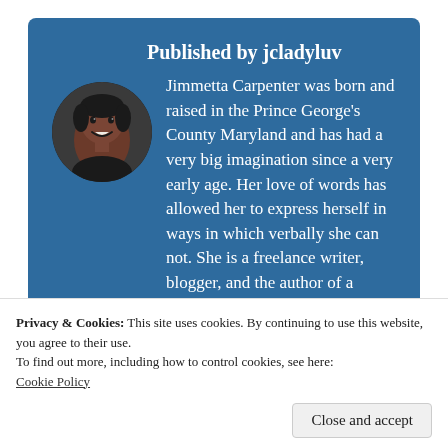Published by jcladyluv
Jimmetta Carpenter was born and raised in the Prince George's County Maryland and has had a very big imagination since a very early age. Her love of words has allowed her to express herself in ways in which verbally she can not. She is a freelance writer, blogger, and the author of a collection of
[Figure (photo): Circular avatar photo of Jimmetta Carpenter]
Privacy & Cookies: This site uses cookies. By continuing to use this website, you agree to their use.
To find out more, including how to control cookies, see here:
Cookie Policy
Close and accept